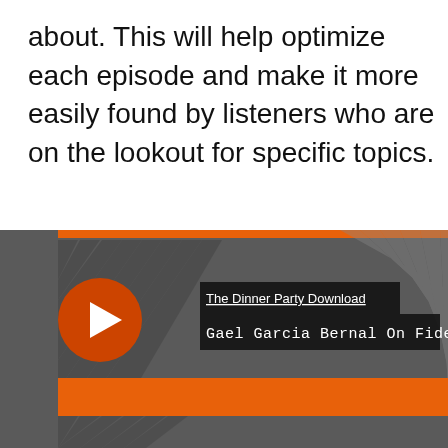about. This will help optimize each episode and make it more easily found by listeners who are on the lookout for specific topics.
[Figure (screenshot): A podcast player interface screenshot showing 'The Dinner Party Download' podcast with episode 'Gael Garcia Bernal On Fidel Castro's Death'. Dark gray background with diagonal stripe pattern, an orange circular play button on the left, episode title text in white on dark background, and an orange progress/scrubber bar in the lower portion.]